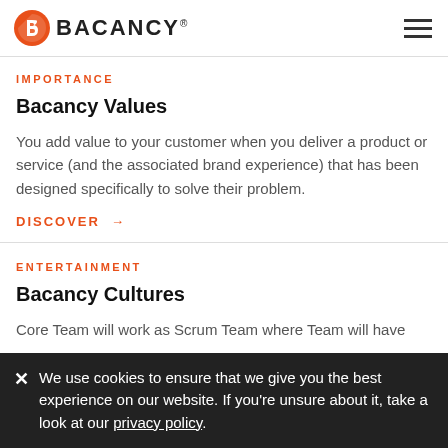BACANCY
IMPORTANCE
Bacancy Values
You add value to your customer when you deliver a product or service (and the associated brand experience) that has been designed specifically to solve their problem.
DISCOVER →
ENTERTAINMENT
Bacancy Cultures
Core Team will work as Scrum Team where Team will have
We use cookies to ensure that we give you the best experience on our website. If you're unsure about it, take a look at our privacy policy.